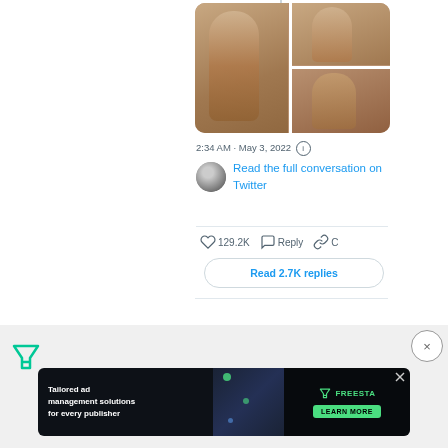[Figure (photo): Three-panel photo grid showing a person in a beige/nude dress from different angles]
2:34 AM · May 3, 2022 ⓘ
Read the full conversation on Twitter
♡ 129.2K  ○ Reply  ∂ C
Read 2.7K replies
[Figure (logo): Filter/Freesta logo icon in green, top left of ad section]
[Figure (illustration): Close X button circle]
[Figure (infographic): Advertisement banner: Tailored ad management solutions for every publisher – Freesta, LEARN MORE]